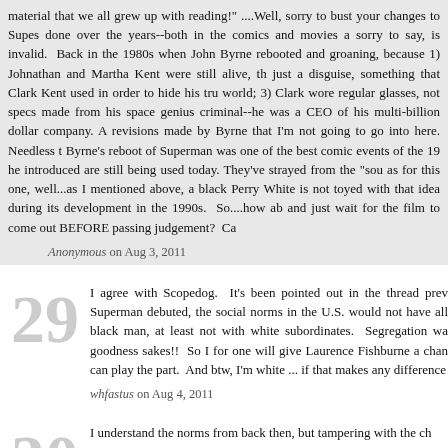material that we all grew up with reading!" ....Well, sorry to bust your changes to Supes done over the years--both in the comics and movies a sorry to say, is invalid. Back in the 1980s when John Byrne rebooted and groaning, because 1) Johnathan and Martha Kent were still alive, th just a disguise, something that Clark Kent used in order to hide his tru world; 3) Clark wore regular glasses, not specs made from his space genius criminal--he was a CEO of his multi-billion dollar company. A revisions made by Byrne that I'm not going to go into here. Needless t Byrne's reboot of Superman was one of the best comic events of the 19 he introduced are still being used today. They've strayed from the "sou as for this one, well...as I mentioned above, a black Perry White is not toyed with that idea during its development in the 1990s. So....how ab and just wait for the film to come out BEFORE passing judgement? Ca
Anonymous on Aug 3, 2011
I agree with Scopedog. It's been pointed out in the thread prev Superman debuted, the social norms in the U.S. would not have all black man, at least not with white subordinates. Segregation wa goodness sakes!! So I for one will give Laurence Fishburne a chan can play the part. And btw, I'm white ... if that makes any difference
whfastus on Aug 4, 2011
I understand the norms from back then, but tampering with the ch